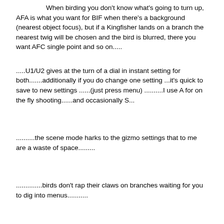When birding you don't know what's going to turn up,  AFA is what you want for BIF when there's a background (nearest object focus), but if a Kingfisher lands on a branch the nearest twig will be chosen and the bird is blurred, there you want AFC single point and so on.....
.....U1/U2 gives at the turn of a dial in instant setting for both.......additionally if you do change one setting ...it's quick to save to new settings ......(just press menu) ..........I use A for on the fly shooting......and occasionally S...
..........the scene mode harks to the gizmo settings that to me are a waste of space.........
..............birds don't rap their claws on branches waiting for you to dig into menus...........
Finally: D500 announced (and D5 really official) - davidmanze - 01-08-2016
The AF point array in the D5: